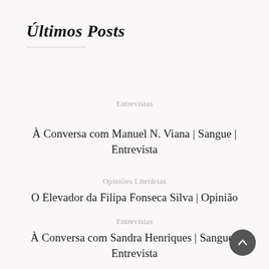Últimos Posts
Entrevistas
À Conversa com Manuel N. Viana | Sangue | Entrevista
Opiniões Literárias
O Elevador da Filipa Fonseca Silva | Opinião
Entrevistas
À Conversa com Sandra Henriques | Sangue | Entrevista